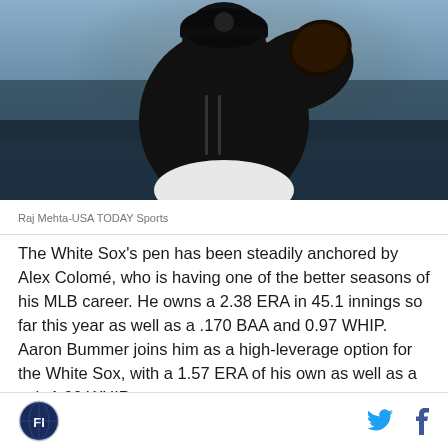[Figure (photo): Baseball pitcher in dark uniform holding glove, photographed from chest up against blurred stadium background]
Raj Mehta-USA TODAY Sports
The White Sox's pen has been steadily anchored by Alex Colomé, who is having one of the better seasons of his MLB career. He owns a 2.38 ERA in 45.1 innings so far this year as well as a .170 BAA and 0.97 WHIP. Aaron Bummer joins him as a high-leverage option for the White Sox, with a 1.57 ERA of his own as well as a sub-1.00 WHIP.
Fansided logo | Twitter | Facebook